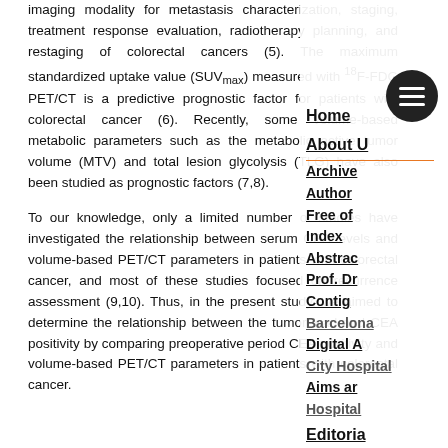imaging modality for metastasis characterization, staging, treatment response evaluation, radiotherapy planning, and restaging of colorectal cancers (5). The maximum standardized uptake value (SUVmax) measured with 18F-FDG PET/CT is a predictive prognostic factor for patients with colorectal cancer (6). Recently, some volume-based metabolic parameters such as the metabolic active tumor volume (MTV) and total lesion glycolysis (TLG) have also been studied as prognostic factors (7,8).
To our knowledge, only a limited number of studies have investigated the relationship between serum CEA levels and volume-based PET/CT parameters in patients with colorectal cancer, and most of these studies focused on recurrence assessment (9,10). Thus, in the present study, we aimed to determine the relationship between the tumor load and CEA positivity by comparing preoperative period CEA positivity and volume-based PET/CT parameters in patients with colorectal cancer.